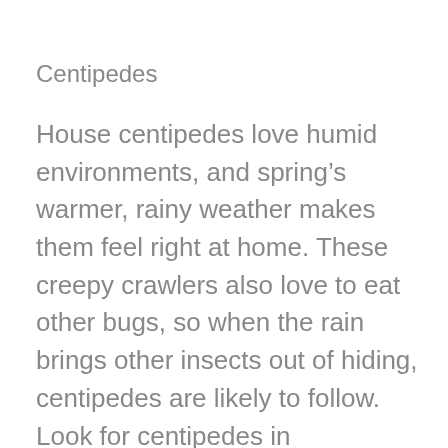Centipedes
House centipedes love humid environments, and spring’s warmer, rainy weather makes them feel right at home. These creepy crawlers also love to eat other bugs, so when the rain brings other insects out of hiding, centipedes are likely to follow. Look for centipedes in bathrooms, basements, and garages and remember, if you cut off their food source, which are other rainy day bugs, you will have a greater